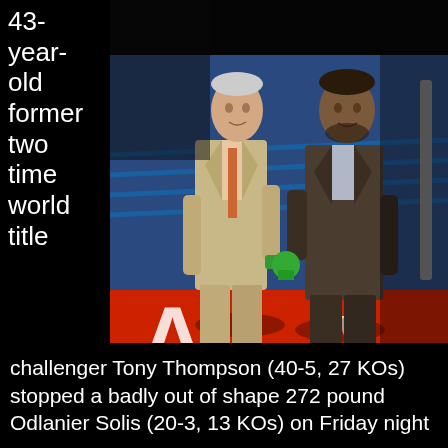43-year-old former two time world title
[Figure (photo): Two men standing in a boxing ring. The man on the left is older, wearing a beige suit with a patterned tie. The man on the right is younger, wearing a dark suit, holding a trophy or award. The boxing ring has blue ropes and red/white floor markings.]
challenger Tony Thompson (40-5, 27 KOs) stopped a badly out of shape 272 pound Odlanier Solis (20-3, 13 KOs) on Friday night